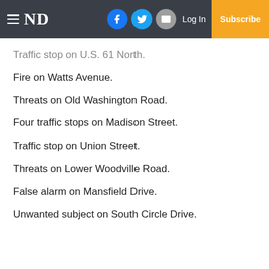≡ ND  Log In  Subscribe
Traffic stop on U.S. 61 North.
Fire on Watts Avenue.
Threats on Old Washington Road.
Four traffic stops on Madison Street.
Traffic stop on Union Street.
Threats on Lower Woodville Road.
False alarm on Mansfield Drive.
Unwanted subject on South Circle Drive.